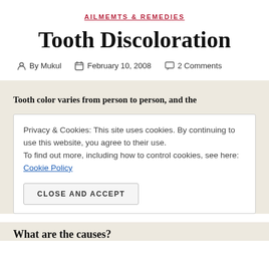AILMEMTS & REMEDIES
Tooth Discoloration
By Mukul   February 10, 2008   2 Comments
Tooth color varies from person to person, and the
Privacy & Cookies: This site uses cookies. By continuing to use this website, you agree to their use.
To find out more, including how to control cookies, see here: Cookie Policy

CLOSE AND ACCEPT
What are the causes?